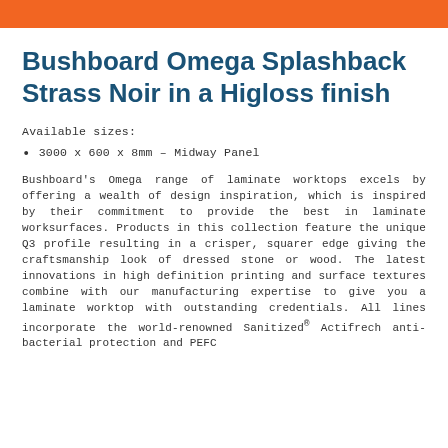Bushboard Omega Splashback Strass Noir in a Higloss finish
Available sizes:
3000 x 600 x 8mm – Midway Panel
Bushboard's Omega range of laminate worktops excels by offering a wealth of design inspiration, which is inspired by their commitment to provide the best in laminate worksurfaces. Products in this collection feature the unique Q3 profile resulting in a crisper, squarer edge giving the craftsmanship look of dressed stone or wood. The latest innovations in high definition printing and surface textures combine with our manufacturing expertise to give you a laminate worktop with outstanding credentials. All lines incorporate the world-renowned Sanitized® Actifrech anti-bacterial protection and PEFC